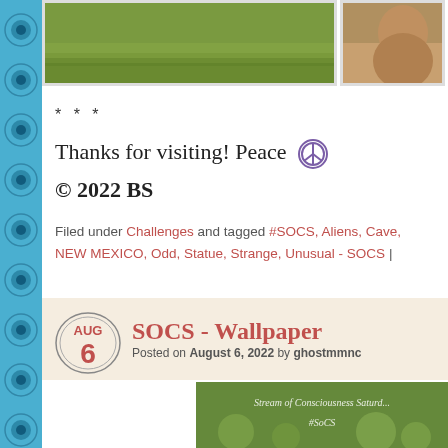[Figure (photo): Two photos at top: grass/field and animal (deer/goat)]
* * *
Thanks for visiting! Peace ☮
© 2022 BS
Filed under Challenges and tagged #SOCS, Aliens, Cave, NEW MEXICO, Odd, Statue, Strange, Unusual - SOCS |
[Figure (infographic): Blog post preview banner: date circle showing AUG 6, post title 'SOCS - Wallpaper', posted on August 6, 2022 by ghostmmnc]
[Figure (photo): Bottom photo: nature/leaves with text 'Stream of Consciousness Saturday #SoCS']